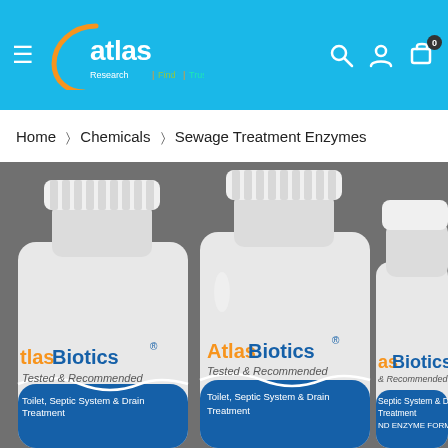Atlas Research — navigation header with logo, search, user, and cart icons
Home > Chemicals > Sewage Treatment Enzymes
[Figure (photo): Three white plastic bottles of AtlasBiotics product labeled 'Tested & Recommended' and 'Toilet, Septic System & Drain Treatment'. The brand name shows 'Atlas' in orange and 'Biotics' in dark blue. Bottles have white caps and a blue wave-pattern label band at the bottom.]